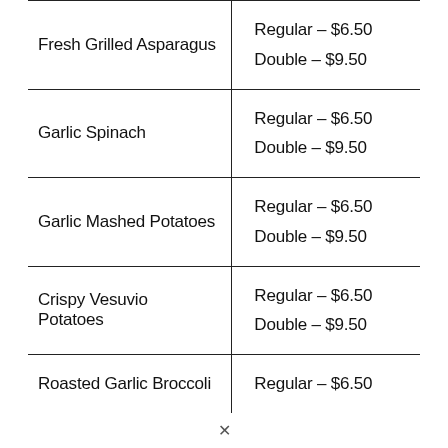| Item | Price |
| --- | --- |
| Fresh Grilled Asparagus | Regular – $6.50
Double – $9.50 |
| Garlic Spinach | Regular – $6.50
Double – $9.50 |
| Garlic Mashed Potatoes | Regular – $6.50
Double – $9.50 |
| Crispy Vesuvio Potatoes | Regular – $6.50
Double – $9.50 |
| Roasted Garlic Broccoli | Regular – $6.50 |